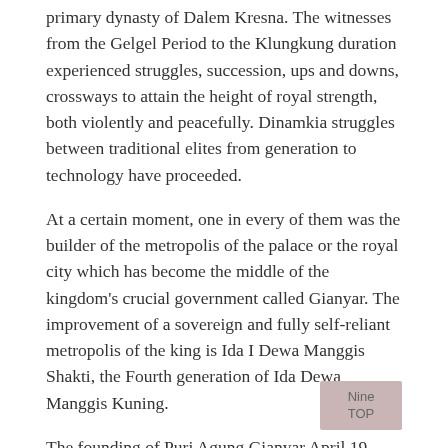primary dynasty of Dalem Kresna. The witnesses from the Gelgel Period to the Klungkung duration experienced struggles, succession, ups and downs, crossways to attain the height of royal strength, both violently and peacefully. Dinamkia struggles between traditional elites from generation to technology have proceeded.
At a certain moment, one in every of them was the builder of the metropolis of the palace or the royal city which has become the middle of the kingdom's crucial government called Gianyar. The improvement of a sovereign and fully self-reliant metropolis of the king is Ida I Dewa Manggis Shakti, the Fourth generation of Ida Dewa Manggis Kuning.
The founding of Puri Agung Gianyar April 19 1771, which also became the capital, and the relevant government of the sovereign country of Gianyar took part in filling the history sheet of the kingdoms of Bali, which consisted of the Nine Kingdoms specifically: Klungkung, Karangasem, Buleleng, Mengwi, Bangli, Payangan, Badung, Tabanan, and Gianyar. However, until the nineteenth century, after the collapse of